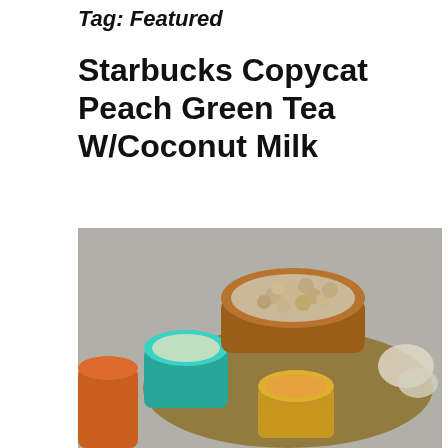Tag: Featured
Starbucks Copycat Peach Green Tea W/Coconut Milk
[Figure (photo): Overhead photo of a rustic wooden tray with a teal ceramic mug containing a pale green drink, a copper bowl filled with small round nuts or legumes, a decorative gold-rimmed glass with an orange/peach colored drink, an orange cup partially visible on the left, and some garlic or coconut pieces on the right side of the tray, set on a grey stone surface.]